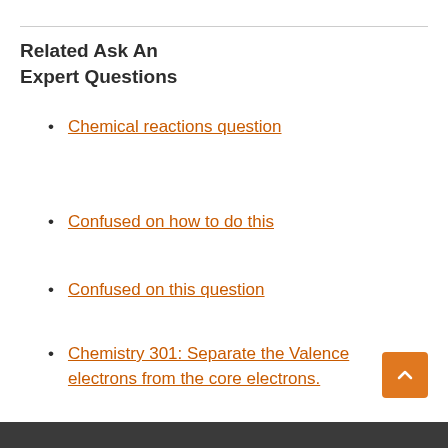Related Ask An Expert Questions
Chemical reactions question
Confused on how to do this
Confused on this question
Chemistry 301: Separate the Valence electrons from the core electrons.